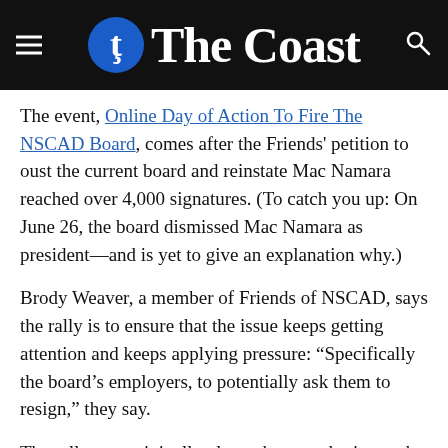The Coast
The event, Online Day of Action To Fire The NSCAD Board, comes after the Friends' petition to oust the current board and reinstate Mac Namara reached over 4,000 signatures. (To catch you up: On June 26, the board dismissed Mac Namara as president—and is yet to give an explanation why.)
Brody Weaver, a member of Friends of NSCAD, says the rally is to ensure that the issue keeps getting attention and keeps applying pressure: “Specifically the board’s employers, to potentially ask them to resign,” they say.
The rally was originally planned as a gathering at the